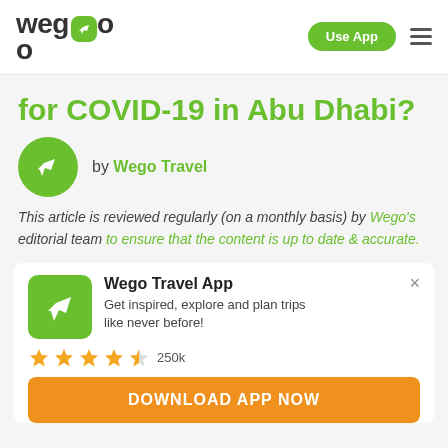wego | Use App
for COVID-19 in Abu Dhabi?
by Wego Travel
This article is reviewed regularly (on a monthly basis) by Wego's editorial team to ensure that the content is up to date & accurate.
Wego Travel App
Get inspired, explore and plan trips like never before!
★★★★½ 250k
DOWNLOAD APP NOW